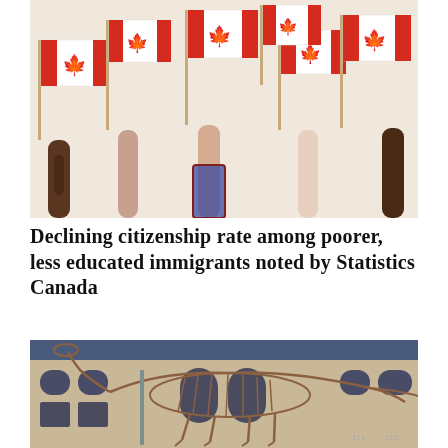[Figure (photo): Multiple hands of diverse skin tones raised up holding small Canadian flags (red and white with maple leaf) against a light beige background.]
Declining citizenship rate among poorer, less educated immigrants noted by Statistics Canada
[Figure (photo): A large dinosaur skeleton (sauropod) displayed outdoors in front of a brick building (museum), photographed at dusk or evening.]